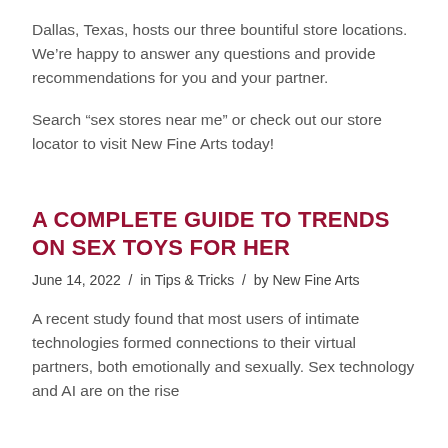Dallas, Texas, hosts our three bountiful store locations. We're happy to answer any questions and provide recommendations for you and your partner.
Search “sex stores near me” or check out our store locator to visit New Fine Arts today!
A COMPLETE GUIDE TO TRENDS ON SEX TOYS FOR HER
June 14, 2022 / in Tips & Tricks / by New Fine Arts
A recent study found that most users of intimate technologies formed connections to their virtual partners, both emotionally and sexually. Sex technology and AI are on the rise